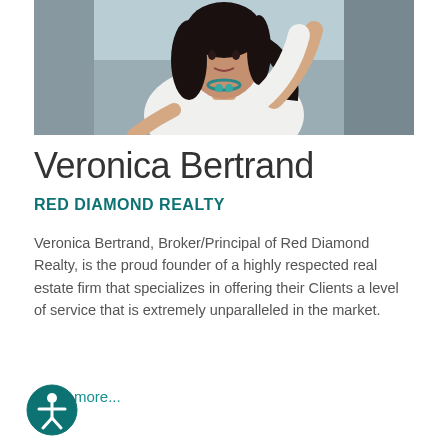[Figure (photo): Professional headshot of Veronica Bertrand, a woman with dark hair wearing a white blouse and teal necklace, seated on a grey couch]
Veronica Bertrand
RED DIAMOND REALTY
Veronica Bertrand, Broker/Principal of Red Diamond Realty, is the proud founder of a highly respected real estate firm that specializes in offering their Clients a level of service that is extremely unparalleled in the market.
Read more...
[Figure (illustration): Accessibility icon — circular teal button with a white person with outstretched arms symbol]